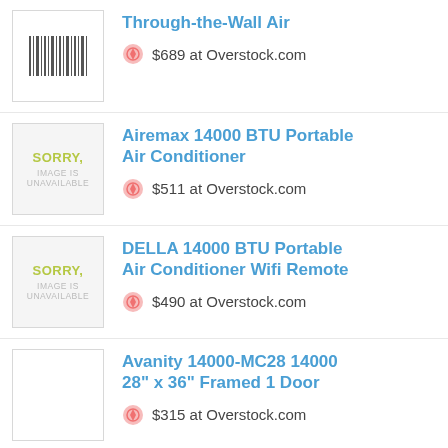Through-the-Wall Air — $689 at Overstock.com
Airemax 14000 BTU Portable Air Conditioner — $511 at Overstock.com
DELLA 14000 BTU Portable Air Conditioner Wifi Remote — $490 at Overstock.com
Avanity 14000-MC28 14000 28" x 36" Framed 1 Door — $315 at Overstock.com
Airemax 14000... (partial)